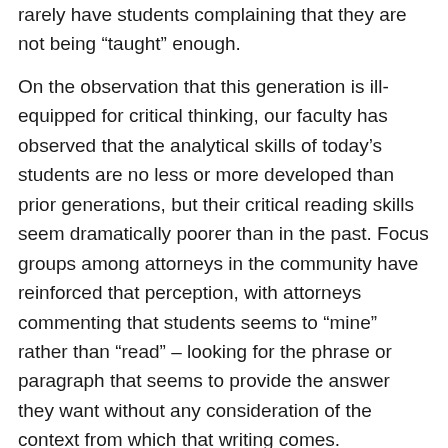rarely have students complaining that they are not being “taught” enough.
On the observation that this generation is ill-equipped for critical thinking, our faculty has observed that the analytical skills of today’s students are no less or more developed than prior generations, but their critical reading skills seem dramatically poorer than in the past. Focus groups among attorneys in the community have reinforced that perception, with attorneys commenting that students seems to “mine” rather than “read” – looking for the phrase or paragraph that seems to provide the answer they want without any consideration of the context from which that writing comes.